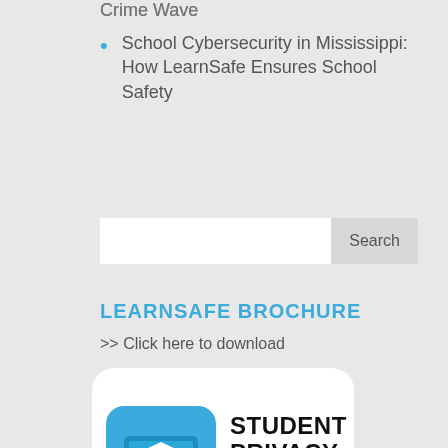Crime Wave
School Cybersecurity in Mississippi: How LearnSafe Ensures School Safety
Search
LEARNSAFE BROCHURE
>> Click here to download
[Figure (logo): Student Privacy Pledge Signatory badge with a blue rounded square icon showing a laptop with a graduation cap, and bold text reading STUDENT PRIVACY PLEDGE SIGNATORY]